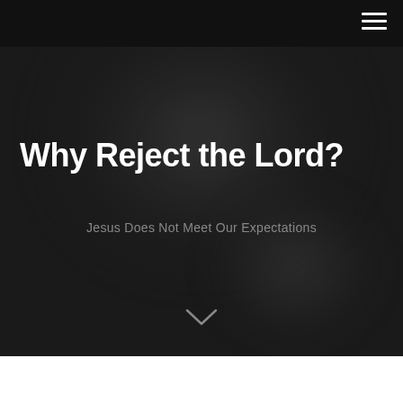☰
Why Reject the Lord?
Jesus Does Not Meet Our Expectations